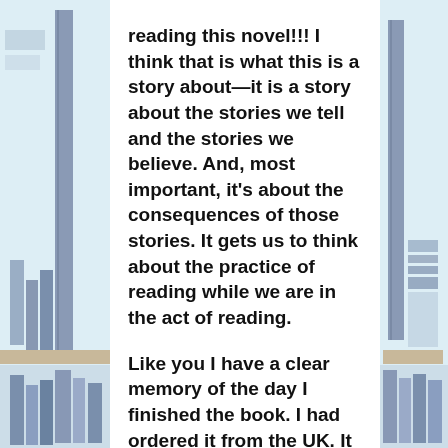[Figure (illustration): Decorative background illustration of colorful book spines arranged vertically on left and right sides of the page, in muted blue, gray, and tan tones.]
reading this novel!!! I think that is what this is a story about—it is a story about the stories we tell and the stories we believe. And, most important, it's about the consequences of those stories. It gets us to think about the practice of reading while we are in the act of reading.
Like you I have a clear memory of the day I finished the book. I had ordered it from the UK. It came special delivery and I sat down and read it from cover to cover. When I hit the ending